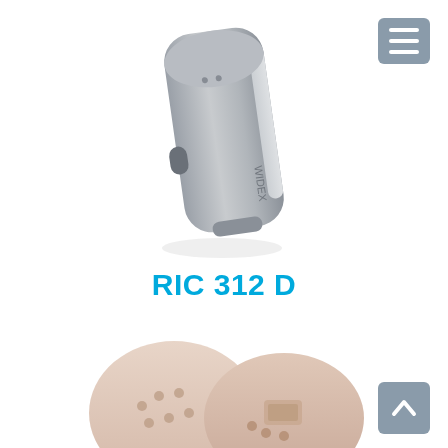[Figure (photo): Gray Widex RIC 312 D hearing aid device, photographed against white background, showing its rounded rectangular body with button and logo]
RIC 312 D
[Figure (photo): Two beige/pink Widex in-ear hearing aid devices shown from above against white background, partially visible at bottom of page]